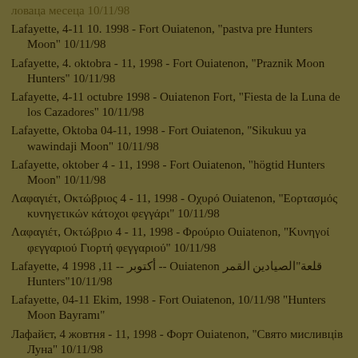ловаца месеца 10/11/98
Lafayette, 4-11 10. 1998 - Fort Ouiatenon, "pastva pre Hunters Moon" 10/11/98
Lafayette, 4. oktobra - 11, 1998 - Fort Ouiatenon, "Praznik Moon Hunters" 10/11/98
Lafayette, 4-11 octubre 1998 - Ouiatenon Fort, "Fiesta de la Luna de los Cazadores" 10/11/98
Lafayette, Oktoba 04-11, 1998 - Fort Ouiatenon, "Sikukuu ya wawindaji Moon" 10/11/98
Lafayette, oktober 4 - 11, 1998 - Fort Ouiatenon, "högtid Hunters Moon" 10/11/98
Λαφαγιέτ, Οκτώβριος 4 - 11, 1998 - Οχυρό Ouiatenon, "Εορτασμός κυνηγετικών κάτοχοι φεγγάρι" 10/11/98
Λαφαγιέτ, Οκτώβριο 4 - 11, 1998 - Φρούριο Ouiatenon, "Κυνηγοί φεγγαριού Γιορτή φεγγαριού" 10/11/98
Lafayette, 4 أكتوبر -- 11, 1998 -- Ouiatenon قلعة"الصيادين القمر Hunters"10/11/98
Lafayette, 04-11 Ekim, 1998 - Fort Ouiatenon, 10/11/98 "Hunters Moon Bayramı"
Лафайєт, 4 жовтня - 11, 1998 - Форт Ouiatenon, "Свято мисливців Луна" 10/11/98
Lafayette , 4 کلی -- 1998 ، 11 -- اکتوبر Ouiatenon ، 10/11/98 "نشر چاند کی پریت"
Lafayette, Ngày 04-Ngày 11 tháng 10 năm 1998 - Fort Ouiatenon, "Lễ Hunters Moon" 10/11/98